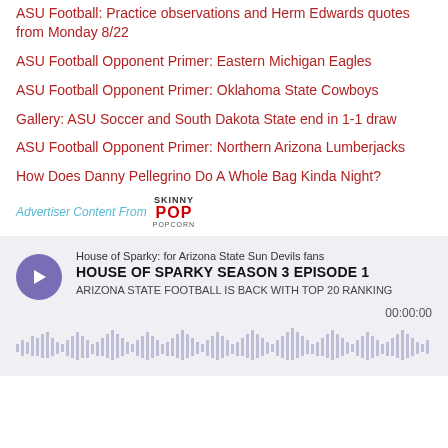ASU Football: Practice observations and Herm Edwards quotes from Monday 8/22
ASU Football Opponent Primer: Eastern Michigan Eagles
ASU Football Opponent Primer: Oklahoma State Cowboys
Gallery: ASU Soccer and South Dakota State end in 1-1 draw
ASU Football Opponent Primer: Northern Arizona Lumberjacks
How Does Danny Pellegrino Do A Whole Bag Kinda Night?
Advertiser Content From SkinnyPop Popcorn
[Figure (screenshot): Podcast player widget for 'House of Sparky: for Arizona State Sun Devils fans' showing episode 'HOUSE OF SPARKY SEASON 3 EPISODE 1' with subtitle 'ARIZONA STATE FOOTBALL IS BACK WITH TOP 20 RANKING', a purple play button, time 00:00:00, and audio waveform visualization.]